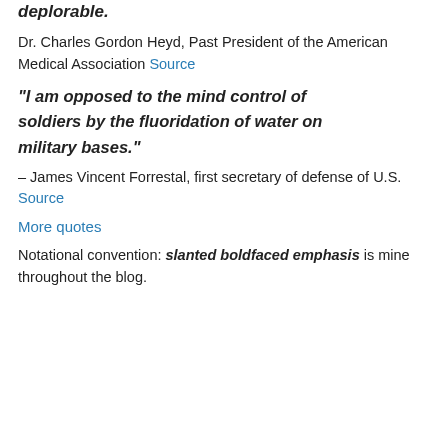deplorable.
Dr. Charles Gordon Heyd, Past President of the American Medical Association Source
“I am opposed to the mind control of soldiers by the fluoridation of water on military bases.”
– James Vincent Forrestal, first secretary of defense of U.S. Source
More quotes
Notational convention: slanted boldfaced emphasis is mine throughout the blog.